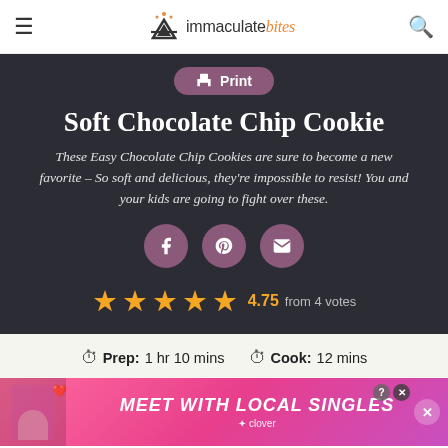immaculate bites
Soft Chocolate Chip Cookie
These Easy Chocolate Chip Cookies are sure to become a new favorite – So soft and delicious, they're impossible to resist! You and your kids are going to fight over these.
4.75 from 4 votes
Prep: 1 hr 10 mins   Cook: 12 mins
[Figure (infographic): Advertisement banner: MEET WITH LOCAL SINGLES - Clover app ad with pink/magenta gradient background and woman photo]